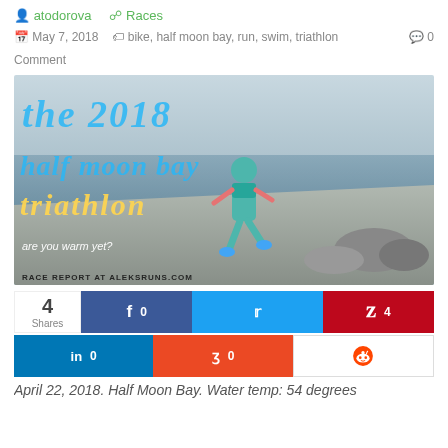atodorova   Races
May 7, 2018   bike, half moon bay, run, swim, triathlon   0 Comment
[Figure (photo): Hero image for 2018 Half Moon Bay Triathlon race report showing a runner on a coastal path with ocean in the background. Overlaid text reads 'the 2018 half moon bay triathlon' and 'are you warm yet?' and 'RACE REPORT AT ALEKSRUNS.COM']
4 Shares  [Facebook 0] [Twitter] [Pinterest 4] [LinkedIn 0] [StumbleUpon 0] [Reddit]
April 22, 2018. Half Moon Bay. Water temp: 54 degrees